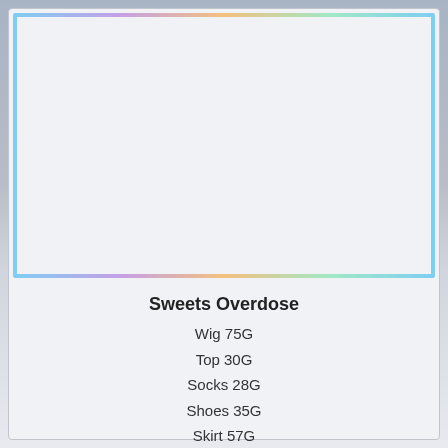[Figure (illustration): Two anime-style fashion figures side by side. Left figure wears a chocolate/sweets themed outfit with a brown ruffled skirt, white top with text, striped thigh-high socks, and gold shoes. Right figure wears an elegant teal/mint floor-length gown with a gold sequined top and teal sandals. Background has pastel rainbow gradient colors.]
Sweets Overdose
Wig 75G
Top 30G
Socks 28G
Shoes 35G
Skirt 57G